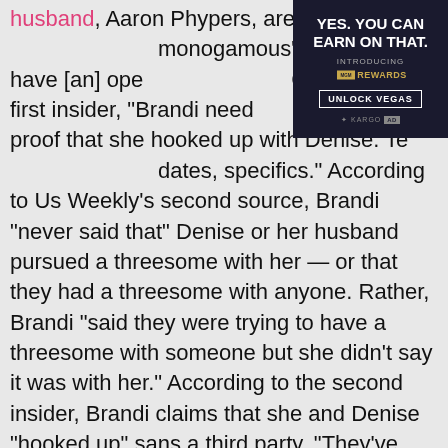husband, Aaron Phypers, are "100 percent monogamous" and "don't have [an] open... Concluded the first insider, "Brandi needs proof that she hooked up with Denise. Text messages, dates, specifics." According to Us Weekly's second source, Brandi "never said that" Denise or her husband pursued a threesome with her — or that they had a threesome with anyone. Rather, Brandi "said they were trying to have a threesome with someone but she didn't say it was with her." According to the second insider, Brandi claims that she and Denise "hooked up" sans a third party. "They've hooked up on more than one occasion. Denise was not married to Aaron when they first hooked up. Another time Brandi was under the impression that they had some openness to Denise and Aaron's relationship and that Aaron was aware of what was going on," said the second source, adding that
[Figure (other): Advertisement banner for MGM Rewards: 'YES. YOU CAN EARN ON THAT. INTRODUCING MGM REWARDS. UNLOCK VEGAS.' with KARGO AD label.]